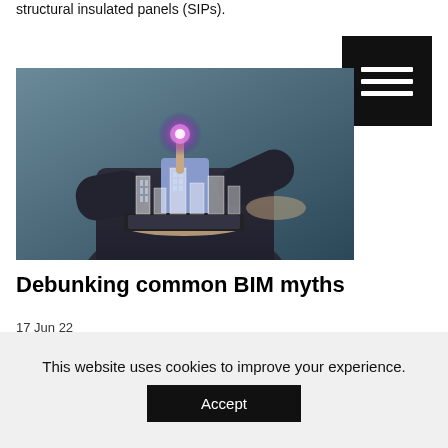structural insulated panels (SIPs).
[Figure (photo): A man in a suit holding a tablet displaying holographic 3D building models, with one finger pointing upward at a glowing light, symbolizing BIM technology]
Debunking common BIM myths
17 Jun 22
When it comes to BIM, even the acronym causes misunderstandings.
[Figure (photo): Exterior view of a brick building with teal/green doors and pink insulation panels visible, inside what appears to be a warehouse or industrial facility]
This website uses cookies to improve your experience.